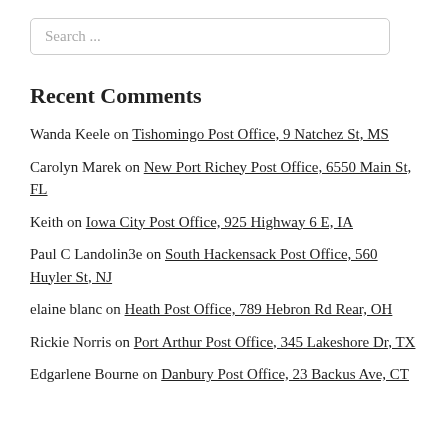Search ...
Recent Comments
Wanda Keele on Tishomingo Post Office, 9 Natchez St, MS
Carolyn Marek on New Port Richey Post Office, 6550 Main St, FL
Keith on Iowa City Post Office, 925 Highway 6 E, IA
Paul C Landolin3e on South Hackensack Post Office, 560 Huyler St, NJ
elaine blanc on Heath Post Office, 789 Hebron Rd Rear, OH
Rickie Norris on Port Arthur Post Office, 345 Lakeshore Dr, TX
Edgarlene Bourne on Danbury Post Office, 23 Backus Ave, CT